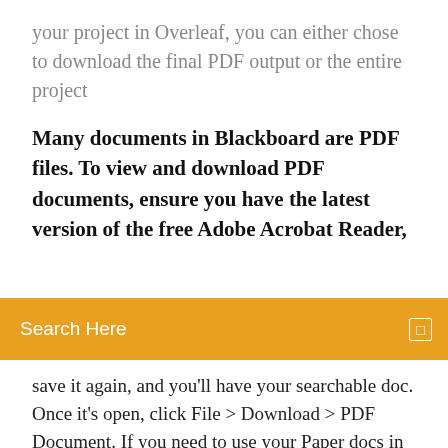your project in Overleaf, you can either chose to download the final PDF output or the entire project
Many documents in Blackboard are PDF files. To view and download PDF documents, ensure you have the latest version of the free Adobe Acrobat Reader,
[Figure (other): Orange search bar with text 'Search Here' and a small icon on the right]
save it again, and you'll have your searchable doc. Once it's open, click File > Download > PDF Document. If you need to use your Paper docs in other applications, you can export them to the following file types: .docx .md .pdf YouTube or SoundCloud files) .docx exports are only compatible with Microsoft Word (not Google Docs or OpenOffice) Choose the format for your download: Microsoft Word (.docx) or Markdown (.md). You can easily embed your Google Docs spreadsheets, documents, forms, and To embed a document, for example, a PDF from Google Drive, right click the. Many businesses use Google Docs